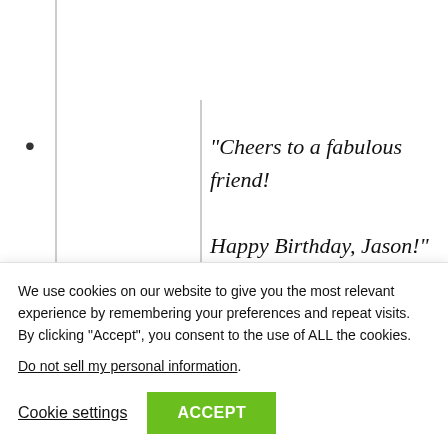“Cheers to a fabulous friend! Happy Birthday, Jason!”
Happy Birthday  Wishes For A
We use cookies on our website to give you the most relevant experience by remembering your preferences and repeat visits. By clicking “Accept”, you consent to the use of ALL the cookies.
Do not sell my personal information.